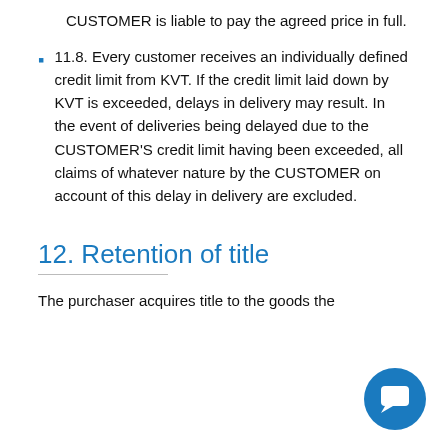CUSTOMER is liable to pay the agreed price in full.
11.8. Every customer receives an individually defined credit limit from KVT. If the credit limit laid down by KVT is exceeded, delays in delivery may result. In the event of deliveries being delayed due to the CUSTOMER'S credit limit having been exceeded, all claims of whatever nature by the CUSTOMER on account of this delay in delivery are excluded.
12. Retention of title
The purchaser acquires title to the goods the